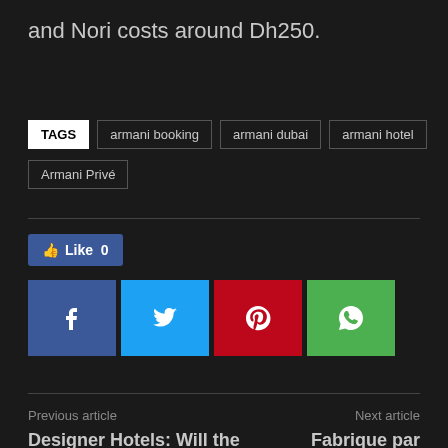and Nori costs around Dh250.
TAGS  armani booking  armani dubai  armani hotel  Armani Privé
[Figure (other): Social media like button showing thumbs up icon and Like 0 count, followed by Facebook, Twitter, Pinterest, and WhatsApp share buttons]
Previous article
Designer Hotels: Will the Wealthy Pay to Sleep With Armani or Versace?
Next article
Fabrique par Armani